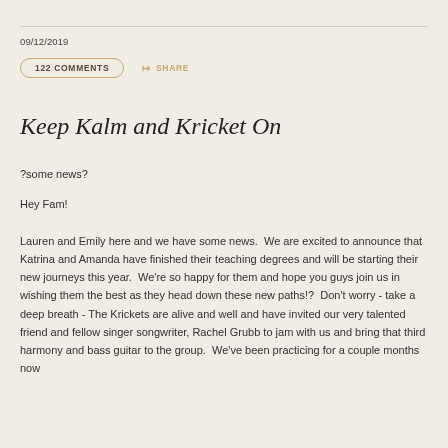09/12/2019
122 COMMENTS   SHARE
Keep Kalm and Kricket On
?some news?
Hey Fam!
Lauren and Emily here and we have some news.  We are excited to announce that Katrina and Amanda have finished their teaching degrees and will be starting their new journeys this year.  We're so happy for them and hope you guys join us in wishing them the best as they head down these new paths!?  Don't worry - take a deep breath - The Krickets are alive and well and have invited our very talented friend and fellow singer songwriter, Rachel Grubb to jam with us and bring that third harmony and bass guitar to the group.  We've been practicing for a couple months now